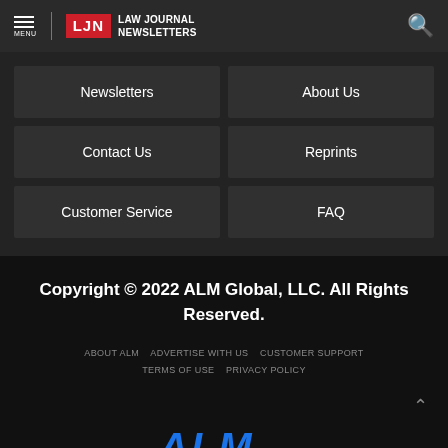LJN Law Journal Newsletters — MENU | Search
Newsletters
About Us
Contact Us
Reprints
Customer Service
FAQ
Copyright © 2022 ALM Global, LLC. All Rights Reserved.
ABOUT ALM   ADVERTISE WITH US   CUSTOMER SUPPORT   TERMS OF USE   PRIVACY POLICY
[Figure (logo): ALM logo in blue italic text at bottom of page]